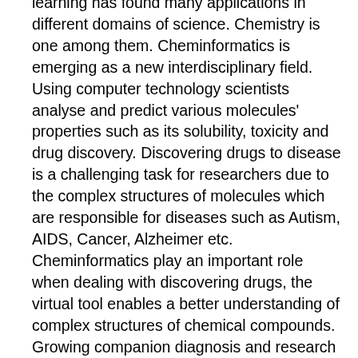learning has found many applications in different domains of science. Chemistry is one among them. Cheminformatics is emerging as a new interdisciplinary field. Using computer technology scientists analyse and predict various molecules' properties such as its solubility, toxicity and drug discovery. Discovering drugs to disease is a challenging task for researchers due to the complex structures of molecules which are responsible for diseases such as Autism, AIDS, Cancer, Alzheimer etc. Cheminformatics play an important role when dealing with discovering drugs, the virtual tool enables a better understanding of complex structures of chemical compounds. Growing companion diagnosis and research activities in the field of gennomics, proteomics, and personlised medicine is paving growth to the market. Despite much potential for growth, the cost associated with software and lack of skilled workforce is hindering